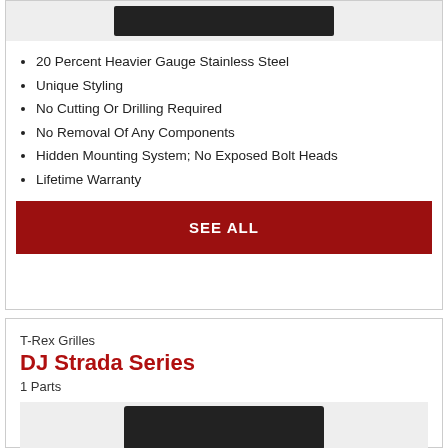[Figure (photo): Product image at top of first card — dark grille part on light background]
20 Percent Heavier Gauge Stainless Steel
Unique Styling
No Cutting Or Drilling Required
No Removal Of Any Components
Hidden Mounting System; No Exposed Bolt Heads
Lifetime Warranty
SEE ALL
T-Rex Grilles
DJ Strada Series
1 Parts
[Figure (photo): Product image at bottom of second card — dark grille part]